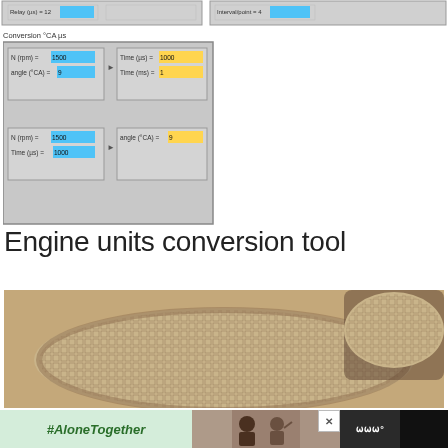[Figure (screenshot): Top strip showing UI panels with blue and grey input fields for engine parameter conversion]
[Figure (screenshot): Conversion °CA µs panel showing two sub-panels: top with N(rpm)=1500, angle(°CA)=9 converting to Time(µs)=1000 and Time(ms)=1; bottom with N(rpm)=1500, Time(µs)=1000 converting to angle(°CA)=9]
Engine units conversion tool
[Figure (photo): Close-up photograph of a ceramic honeycomb substrate/catalyst with visible grid pattern, beige/tan color, used in automotive catalytic converters]
[Figure (screenshot): Advertisement banner: #AloneTogether with photo of family on right side and close button, with logo on far right]